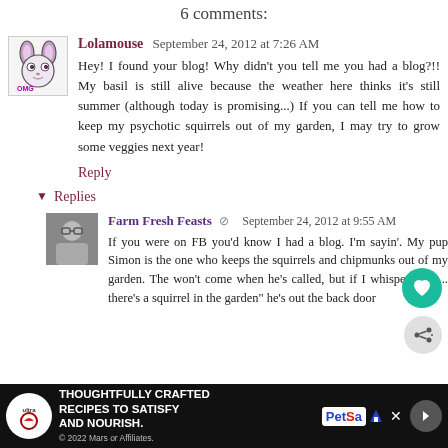6 comments:
Lolamouse  September 24, 2012 at 7:26 AM
Hey! I found your blog! Why didn't you tell me you had a blog?!! My basil is still alive because the weather here thinks it's still summer (although today is promising...) If you can tell me how to keep my psychotic squirrels out of my garden, I may try to grow some veggies next year!
Reply
Replies
Farm Fresh Feasts  September 24, 2012 at 9:55 AM
If you were on FB you'd know I had a blog. I'm sayin'. My pup Simon is the one who keeps the squirrels and chipmunks out of my garden. The won't come when he's called, but if I whisper, "Sin... there's a squirrel in the garden" he's out the back door
[Figure (infographic): Advertisement banner: THOUGHTFULLY CRAFTED RECIPES TO SATISFY AND NOURISH. PetSmart logo. 2022 Mars or Affiliates.]